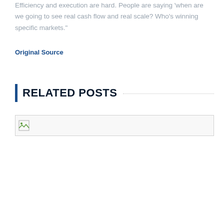Efficiency and execution are hard. People are saying 'when are we going to see real cash flow and real scale? Who's winning specific markets."
Original Source
RELATED POSTS
[Figure (photo): Broken/placeholder image thumbnail for a related post]